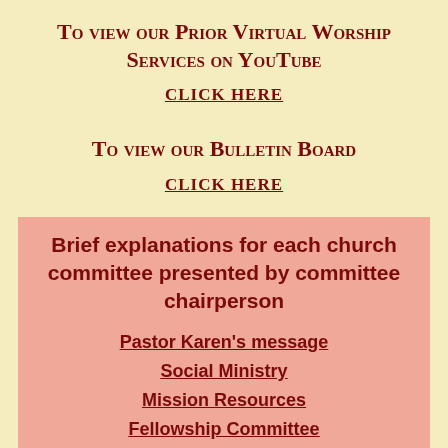To view our Prior Virtual Worship Services on YouTube
CLICK HERE
To view our Bulletin Board
CLICK HERE
Brief explanations for each church committee presented by committee chairperson
Pastor Karen's message
Social Ministry
Mission Resources
Fellowship Committee
Worship & Music Committee
Finance Committee